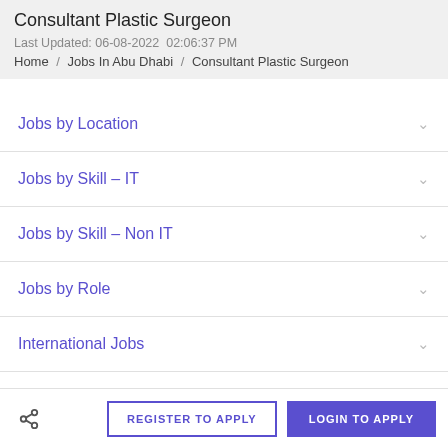Consultant Plastic Surgeon
Last Updated: 06-08-2022  02:06:37 PM
Home / Jobs In Abu Dhabi / Consultant Plastic Surgeon
Jobs by Location
Jobs by Skill – IT
Jobs by Skill – Non IT
Jobs by Role
International Jobs
REGISTER TO APPLY   LOGIN TO APPLY